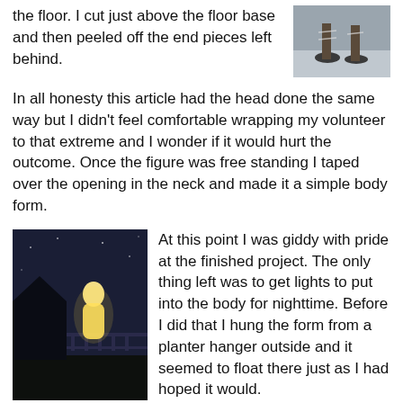the floor. I cut just above the floor base and then peeled off the end pieces left behind.
[Figure (photo): Photo showing feet/sandals on a floor covered with plastic wrap or tape]
In all honesty this article had the head done the same way but I didn’t feel comfortable wrapping my volunteer to that extreme and I wonder if it would hurt the outcome. Once the figure was free standing I taped over the opening in the neck and made it a simple body form.
[Figure (photo): Nighttime outdoor photo showing a glowing ghost or body form figure hanging outside near a house, lit from within, floating near a deck railing against a dark blue sky]
At this point I was giddy with pride at the finished project. The only thing left was to get lights to put into the body for nighttime. Before I did that I hung the form from a planter hanger outside and it seemed to float there just as I had hoped it would.
Awesome ghost, but it is too complex and time